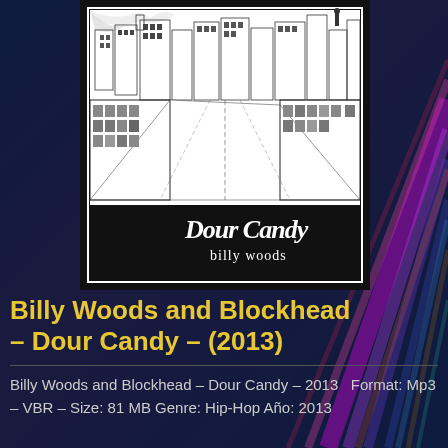[Figure (illustration): Album cover for Dour Candy by Billy Woods and Blockhead. Black and white detailed illustration of a city skyline viewed from above, with the text 'Dour Candy' in white handwritten script and 'billy woods' below it on a black background.]
Billy Woods and Blockhead – Dour Candy – (2013)
Billy Woods and Blockhead – Dour Candy – 2013   Format: Mp3 – VBR – Size: 81 MB Genre: Hip-Hop Año: 2013